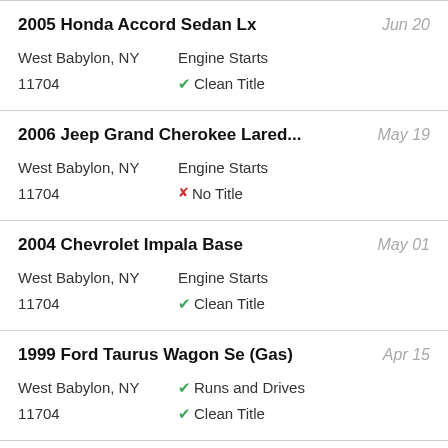2005 Honda Accord Sedan Lx | Jun 20 | West Babylon, NY 11704 | Engine Starts | Clean Title
2006 Jeep Grand Cherokee Lared... | May 19 | West Babylon, NY 11704 | Engine Starts | No Title
2004 Chevrolet Impala Base | May 01 | West Babylon, NY 11704 | Engine Starts | Clean Title
1999 Ford Taurus Wagon Se (Gas) | Apr 15 | West Babylon, NY 11704 | Runs and Drives | Clean Title